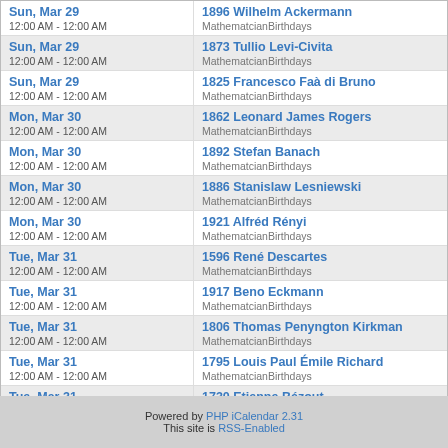Sun, Mar 29 | 12:00 AM - 12:00 AM | 1896 Wilhelm Ackermann | MathematicianBirthdays
Sun, Mar 29 | 12:00 AM - 12:00 AM | 1873 Tullio Levi-Civita | MathematicianBirthdays
Sun, Mar 29 | 12:00 AM - 12:00 AM | 1825 Francesco Faà di Bruno | MathematicianBirthdays
Mon, Mar 30 | 12:00 AM - 12:00 AM | 1862 Leonard James Rogers | MathematicianBirthdays
Mon, Mar 30 | 12:00 AM - 12:00 AM | 1892 Stefan Banach | MathematicianBirthdays
Mon, Mar 30 | 12:00 AM - 12:00 AM | 1886 Stanislaw Lesniewski | MathematicianBirthdays
Mon, Mar 30 | 12:00 AM - 12:00 AM | 1921 Alfréd Rényi | MathematicianBirthdays
Tue, Mar 31 | 12:00 AM - 12:00 AM | 1596 René Descartes | MathematicianBirthdays
Tue, Mar 31 | 12:00 AM - 12:00 AM | 1917 Beno Eckmann | MathematicianBirthdays
Tue, Mar 31 | 12:00 AM - 12:00 AM | 1806 Thomas Penyngton Kirkman | MathematicianBirthdays
Tue, Mar 31 | 12:00 AM - 12:00 AM | 1795 Louis Paul Émile Richard | MathematicianBirthdays
Tue, Mar 31 | 12:00 AM - 12:00 AM | 1730 Etienne Bézout | MathematicianBirthdays
Tue, Mar 31 | 12:00 AM - 12:00 AM | 1848 Diederik Johannes Korteweg | MathematicianBirthdays
Powered by PHP iCalendar 2.31
This site is RSS-Enabled